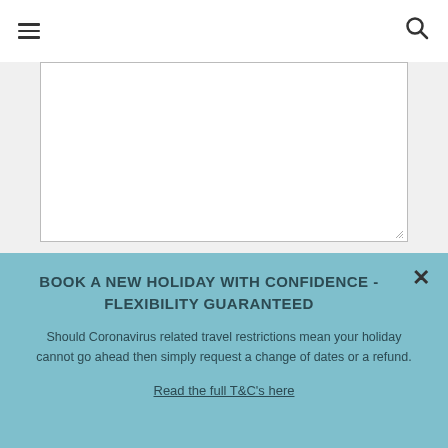[Figure (screenshot): Text area input field (empty), white background with border and resize handle]
In order to receive our reply and our subsequent messages, we recommend that you add the address info@provenceholidays.com to your contacts.
BOOK A NEW HOLIDAY WITH CONFIDENCE - FLEXIBILITY GUARANTEED
Should Coronavirus related travel restrictions mean your holiday cannot go ahead then simply request a change of dates or a refund.
Read the full T&C's here